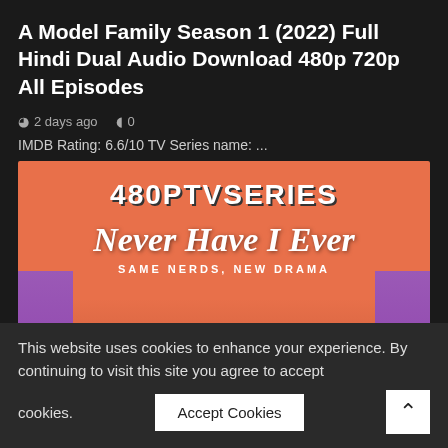A Model Family Season 1 (2022) Full Hindi Dual Audio Download 480p 720p All Episodes
2 days ago   0
IMDB Rating: 6.6/10 TV Series name: ...
[Figure (screenshot): 480pTVSeries website banner showing 'Never Have I Ever' with text 'SAME NERDS, NEW DRAMA' on an orange/pink background with purple side bars and character silhouettes at the bottom]
This website uses cookies to enhance your experience. By continuing to visit this site you agree to accept cookies.
Accept Cookies